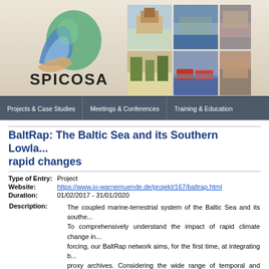[Figure (logo): SPICOSA project logo with stylized wave/leaf shapes in blue, tan and green, with the text SPICOSA below]
[Figure (photo): Grid of coastal/nature photo thumbnails: house on cliff, aerial coast view, partial image; grass dunes, boats at dock, partial image]
Projects & Case Studies | Meetings & Conferences | Training & Education
BaltRap: The Baltic Sea and its Southern Lowlands: proxy-based reconstruction of rapid changes
| Type of Entry: | Project |
| Website: | https://www.io-warnemuende.de/projekt/167/baltrap.html |
| Duration: | 01/02/2017 - 31/01/2020 |
Description: The coupled marine-terrestrial system of the Baltic Sea and its southern lowlands is highly vulnerable to rapid climate change. To comprehensively understand the impact of rapid climate change in the context of natural and anthropogenic forcing, our BaltRap network aims, for the first time, at integrating Baltic Sea and terrestrial proxy archives. Considering the wide range of temporal and spatial scales, we will investigate the response time and magnitude of the considered environments. Based on a multi-proxy approach application tailored to the different bio- and geo-archives based on... 1. Comprehensive understanding of the environmental responses a...